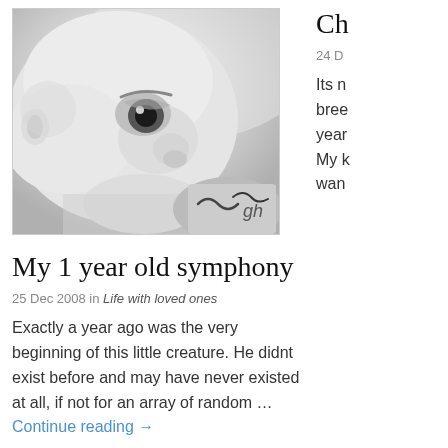[Figure (photo): Black and white close-up photograph of a baby looking upward, with large dark eyes visible and wearing a garment with a decorative pattern at the bottom right]
My 1 year old symphony
25 Dec 2008 in Life with loved ones
Exactly a year ago was the very beginning of this little creature. He didnt exist before and may have never existed at all, if not for an array of random … Continue reading →
Ch
24 D
Its n bree year My k wan